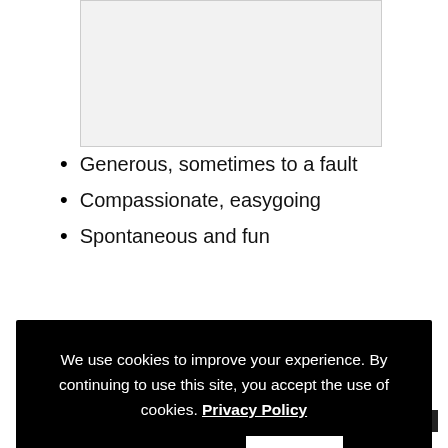[Figure (other): Gray placeholder image box at top of page]
Generous, sometimes to a fault
Compassionate, easygoing
Spontaneous and fun
We use cookies to improve your experience. By continuing to use this site, you accept the use of cookies. Privacy Policy
Accept
[Figure (other): Gray placeholder image box at bottom of page with orange circle and dark rectangle UI elements]